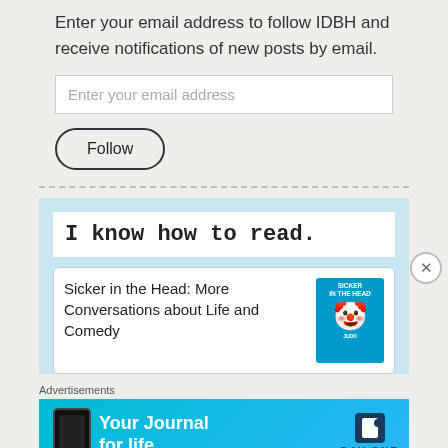Enter your email address to follow IDBH and receive notifications of new posts by email.
[Figure (screenshot): Email input field with placeholder text 'Enter your email address']
[Figure (screenshot): Follow button with rounded border]
I know how to read.
Sicker in the Head: More Conversations about Life and Comedy
[Figure (illustration): Book cover for 'Sicker in the Head' showing a cartoon character with spiky yellow hair on a blue background]
Advertisements
[Figure (screenshot): Day One app advertisement banner - 'Your Journal for life' on cyan/blue background with phone mockup and Day One logo]